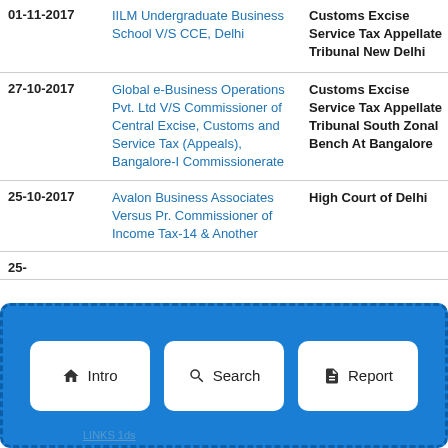| Date | Case | Court |
| --- | --- | --- |
| 01-11-2017 | IILM Undergraduate Business School V/S CCE, Delhi | Customs Excise Service Tax Appellate Tribunal New Delhi |
| 27-10-2017 | Global e-Business Operations Pvt. Ltd V/S Commissioner of Central Excise, Customs and Service Tax (Appeals), Bangalore-I Commissionerate | Customs Excise Service Tax Appellate Tribunal South Zonal Bench At Bangalore |
| 25-10-2017 | Avalon Business Associates Versus Pr. Commissioner of Income Tax-14 & Another | High Court of Delhi |
| 25-... |  |  |
[Figure (other): Navigation bar with three buttons: Intro (home icon), Search (magnifying glass icon), Report (document icon), on a blue dashed-border background]